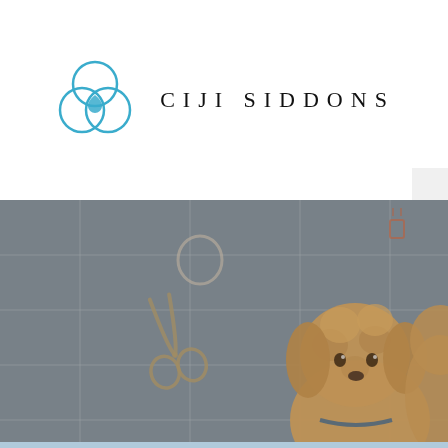[Figure (logo): Ciji Siddons brand logo: three overlapping circles in blue forming a trefoil/clover shape with a small teardrop in the center, followed by the text 'CIJI SIDDONS' in spaced serif letters]
[Figure (photo): Photograph of a dog grooming scene: grooming scissors and rings hanging on a white tile wall, with a fluffy golden/apricot doodle dog in the foreground on the right side. The image has a dark overlay tint.]